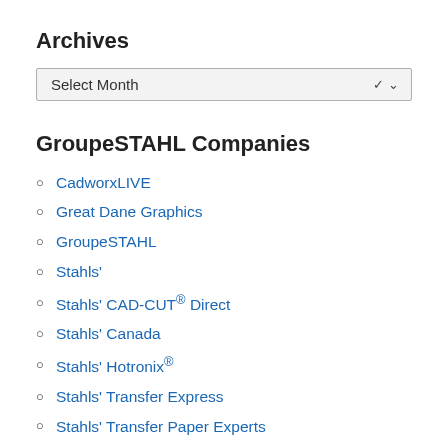Archives
Select Month
GroupeSTAHL Companies
CadworxLIVE
Great Dane Graphics
GroupeSTAHL
Stahls'
Stahls' CAD-CUT® Direct
Stahls' Canada
Stahls' Hotronix®
Stahls' Transfer Express
Stahls' Transfer Paper Experts